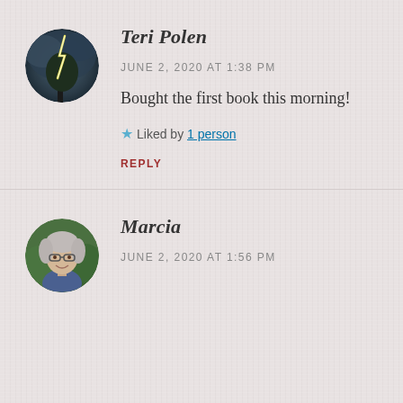[Figure (photo): Circular avatar photo of Teri Polen showing a stormy sky with lightning and a tree silhouette]
Teri Polen
JUNE 2, 2020 AT 1:38 PM
Bought the first book this morning!
★ Liked by 1 person
REPLY
[Figure (photo): Circular avatar photo of Marcia showing a woman with glasses and white hair in front of green foliage]
Marcia
JUNE 2, 2020 AT 1:56 PM